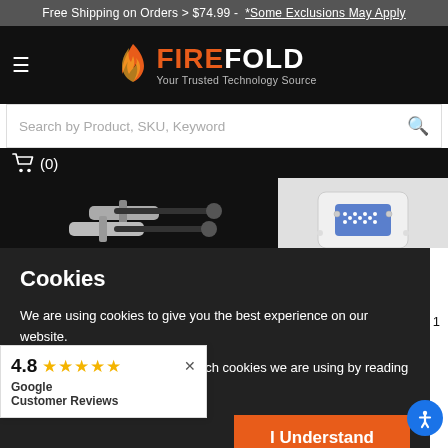Free Shipping on Orders > $74.99 -  *Some Exclusions May Apply
[Figure (logo): FireFold logo with flame icon and tagline 'Your Trusted Technology Source']
Search by Product, SKU, Keyword
(0)
[Figure (photo): USB-C cable connectors on left side and white VGA adapter on right side]
Cookies
We are using cookies to give you the best experience on our website.
You can find out more about which cookies we are using by reading our Privacy Policy
I Understand
★ 1
isplayPort
pter
4.8 ★★★★★
Google
Customer Reviews